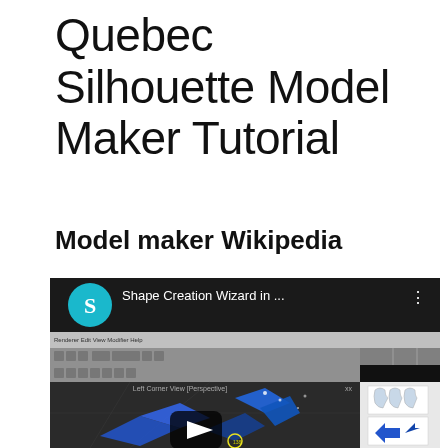Quebec Silhouette Model Maker Tutorial
Model maker Wikipedia
[Figure (screenshot): Screenshot of a YouTube video thumbnail showing 'Shape Creation Wizard in ...' with a teal S logo, and below it a 3D modeling software viewport with blue 3D shapes, toolbar menus, and a play button overlay.]